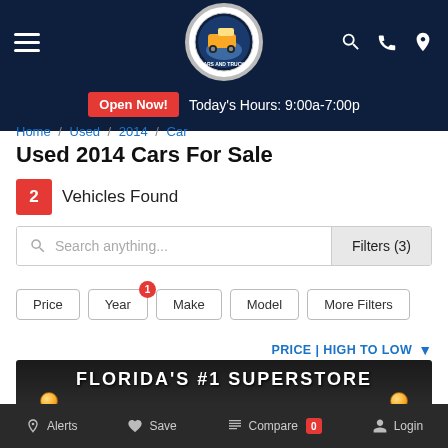Open Now! Today's Hours: 9:00a-7:00p
Home / Used / 2014 / Car
Used 2014 Cars For Sale
2 Vehicles Found
Search anything... | Filters (3)
Price | Year (1) | Make | Model | More Filters
PRICE | HIGH TO LOW
[Figure (photo): Car listing photo showing a vehicle at a dealership with banner reading FLORIDA'S #1 SUPERSTORE]
Alerts | Save | Compare 0 | Login